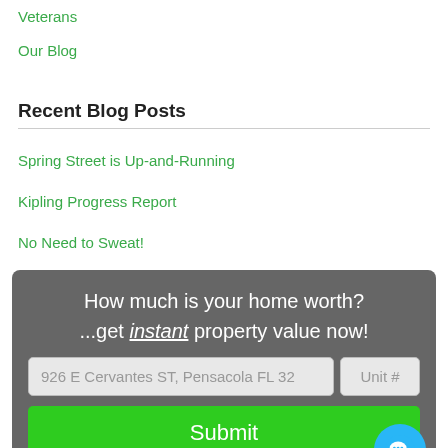Veterans
Our Blog
Recent Blog Posts
Spring Street is Up-and-Running
Kipling Progress Report
No Need to Sweat!
[Figure (screenshot): Widget box with dark gray background asking 'How much is your home worth? ...get instant property value now!' with address input field showing '926 E Cervantes ST, Pensacola FL 32', a Unit # field, a green Submit button, and a blue chat bubble icon in the bottom right corner.]